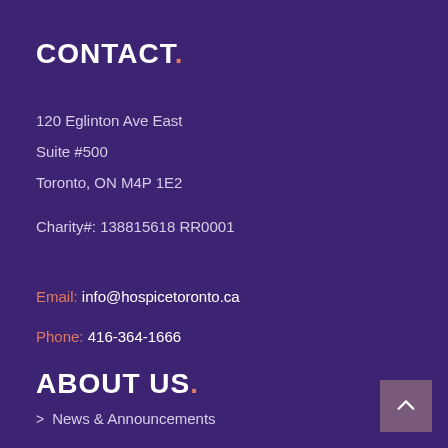CONTACT.
120 Eglinton Ave East
Suite #500
Toronto, ON M4P 1E2
Charity#: 138815618 RR0001
Email: info@hospicetoronto.ca
Phone: 416-364-1666
ABOUT US.
> News & Announcements